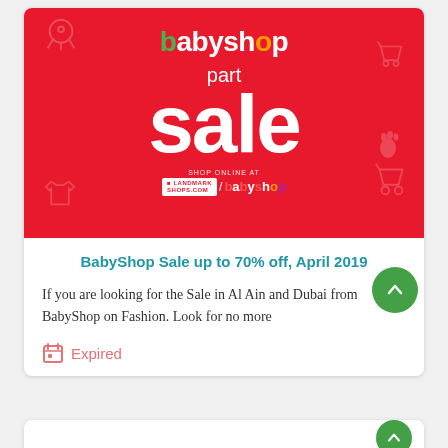[Figure (illustration): BabyShop 'part sale' promotional banner on red background with white text and decorative baby-themed ghost icons. Shows babyshop logo at top, 'part' in smaller text, 'sale' in large bold text, and landmarkshops.com/babyshop URL at bottom.]
BabyShop Sale up to 70% off, April 2019
If you are looking for the Sale in Al Ain and Dubai from BabyShop on Fashion. Look for no more
Expired